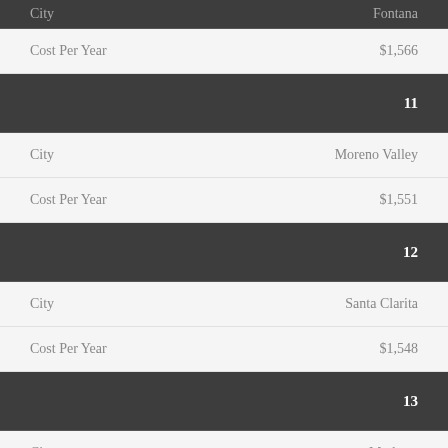|  |  |
| --- | --- |
| City | Fontana |
| Cost Per Year | $1,566 |
| 11 |  |
| City | Moreno Valley |
| Cost Per Year | $1,551 |
| 12 |  |
| City | Santa Clarita |
| Cost Per Year | $1,548 |
| 13 |  |
| City | Modesto |
| Cost Per Year | $1,547 |
| 14 |  |
| City | Riverside |